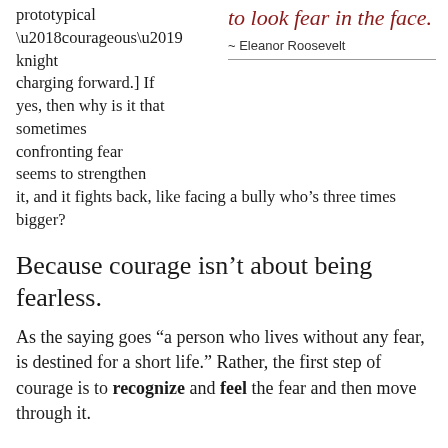prototypical ‘courageous’ knight charging forward.] If yes, then why is it that sometimes confronting fear seems to strengthen it, and it fights back, like facing a bully who’s three times bigger?
to look fear in the face.
~ Eleanor Roosevelt
Because courage isn’t about being fearless.
As the saying goes “a person who lives without any fear, is destined for a short life.” Rather, the first step of courage is to recognize and feel the fear and then move through it.